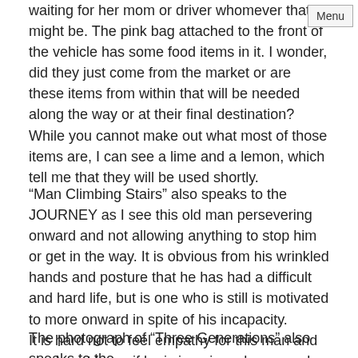waiting for her mom or driver whomever that might be. The pink bag attached to the front of the vehicle has some food items in it. I wonder, did they just come from the market or are these items from within that will be needed along the way or at their final destination? While you cannot make out what most of those items are, I can see a lime and a lemon, which tell me that they will be used shortly.
“Man Climbing Stairs” also speaks to the JOURNEY as I see this old man persevering onward and not allowing anything to stop him or get in the way. It is obvious from his wrinkled hands and posture that he has had a difficult and hard life, but is one who is still is motivated to more onward in spite of his incapacity.
It is hard not to feel empathy for this man and we do not know if he is in pain as he ascends the stairs, but he does not let that impede his need to continue onward on his journey.
The photograph of “Three Generations” also speaks to the